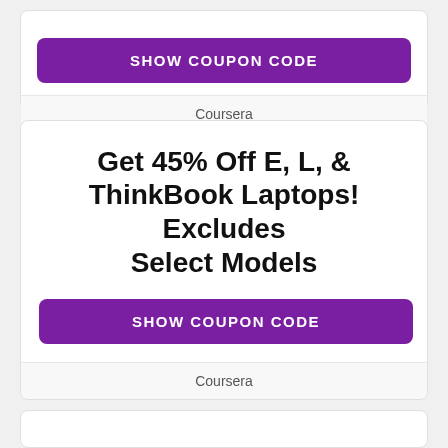[Figure (screenshot): Purple 'SHOW COUPON CODE' button at top of first card]
Coursera
Get 45% Off E, L, & ThinkBook Laptops! Excludes Select Models
[Figure (screenshot): Purple 'SHOW COUPON CODE' button inside second card]
Coursera